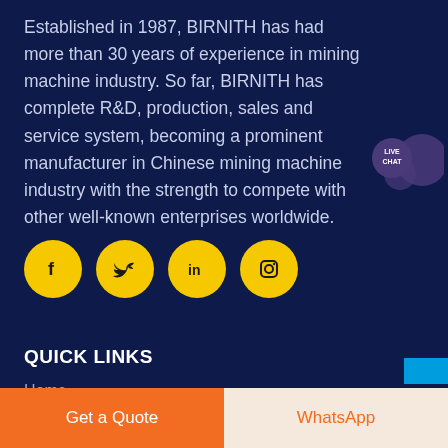Established in 1987, BIRNITH has had more than 30 years of experience in mining machine industry. So far, BIRNITH has complete R&D, production, sales and service system, becoming a prominent manufacturer in Chinese mining machine industry with the strength to compete with other well-known enterprises worldwide.
[Figure (infographic): Live chat speech bubble icon with text LIVE CHAT in dark purple]
[Figure (infographic): Four yellow circular social media icons: Facebook (f), Twitter (bird), LinkedIn (in), Instagram (camera)]
QUICK LINKS
Home
Products